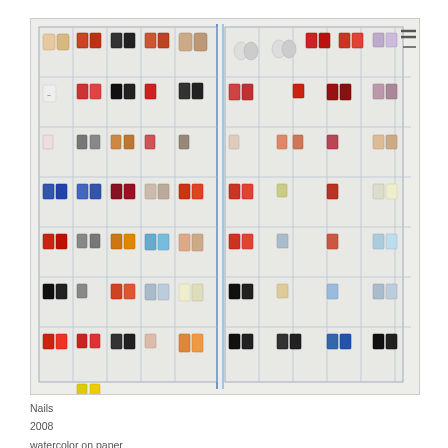[Figure (illustration): A watercolor diptych artwork showing a large grid display of decorated fingernails in various colors and patterns, arranged in rows and columns on a white/light gray background. The left and right panels show hundreds of nail art samples in small rectangular cells.]
Nails
2008
watercolor on paper
11.75 x 23.5 inches (diptych)
[Figure (illustration): Bottom portion of another watercolor artwork showing a row of decorated nail samples in earth tones (beige, tan, brown, cream) with floral and decorative patterns, arranged in a horizontal grid.]